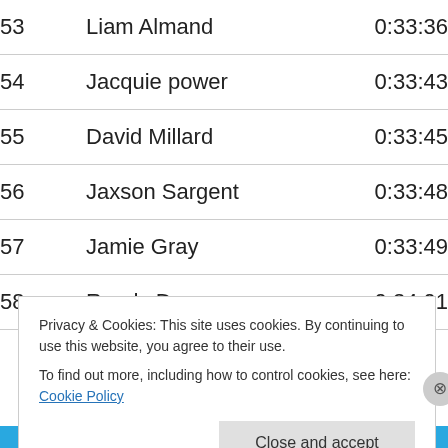| Place | Name | Time |
| --- | --- | --- |
| 53 | Liam Almand | 0:33:36 |
| 54 | Jacquie power | 0:33:43 |
| 55 | David Millard | 0:33:45 |
| 56 | Jaxson Sargent | 0:33:48 |
| 57 | Jamie Gray | 0:33:49 |
| 58 | Randy Denson | 0:34:01 |
Privacy & Cookies: This site uses cookies. By continuing to use this website, you agree to their use. To find out more, including how to control cookies, see here: Cookie Policy